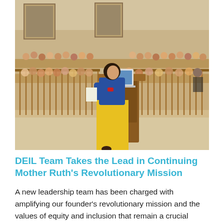[Figure (photo): A person wearing a traditional Korean hanbok (blue top, yellow skirt) stands at a wooden podium with an open laptop, presenting to an audience of children seated in tiered wooden benches in a large hall with artwork on the walls.]
DEIL Team Takes the Lead in Continuing Mother Ruth's Revolutionary Mission
A new leadership team has been charged with amplifying our founder's revolutionary mission and the values of equity and inclusion that remain a crucial